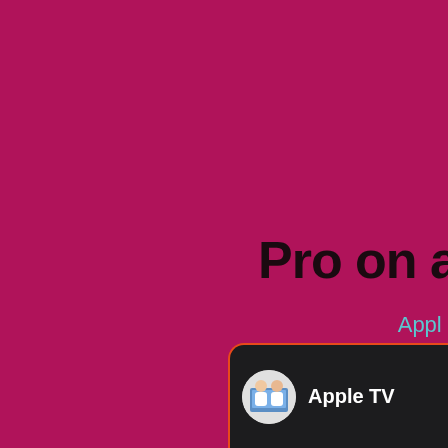[Figure (screenshot): Partial screenshot of a promotional page with magenta/crimson background. Lower right shows bold dark text 'Pro on a' (cut off), cyan 'Apple' label text (cut off), and a dark notification card with orange border containing a circular avatar thumbnail of two people holding a laptop and the text 'Apple TV' (cut off).]